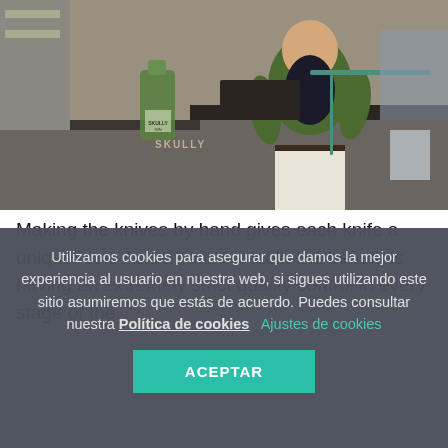[Figure (photo): A person wearing a green blazer standing in what appears to be a workshop or storage area with tools and equipment in the background. A bottle of Skully Gin is visible on a counter.]
Making the knives by hand gives each knife a unique look. Aside from the look, the benefit is having an extremely strict quality control in every stage of the
Utilizamos cookies para asegurar que damos la mejor experiencia al usuario en nuestra web, si sigues utilizando este sitio asumiremos que estás de acuerdo. Puedes consultar nuestra Política de cookies    Ajustes de cookies
ACEPTAR